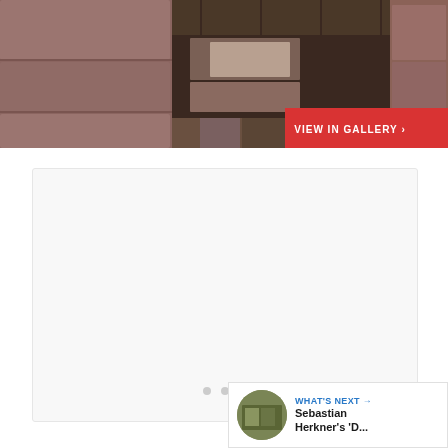[Figure (photo): Close-up of brown/mauve modern drawer cabinet with open drawers revealing a rustic wooden floor with mixed stone and wood tiles underneath]
VIEW IN GALLERY ›
[Figure (screenshot): White/light grey content card area with three pagination dots at the bottom center]
[Figure (infographic): Blue circular heart/like button with white heart icon, count badge showing 1, and circular share button with share icon]
WHAT'S NEXT → Sebastian Herkner's 'D...